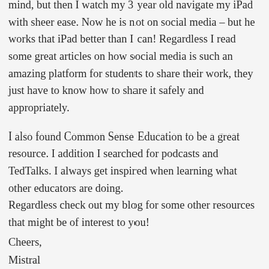mind, but then I watch my 3 year old navigate my iPad with sheer ease. Now he is not on social media – but he works that iPad better than I can! Regardless I read some great articles on how social media is such an amazing platform for students to share their work, they just have to know how to share it safely and appropriately.
I also found Common Sense Education to be a great resource. I addition I searched for podcasts and TedTalks. I always get inspired when learning what other educators are doing.
Regardless check out my blog for some other resources that might be of interest to you!
Cheers,
Mistral